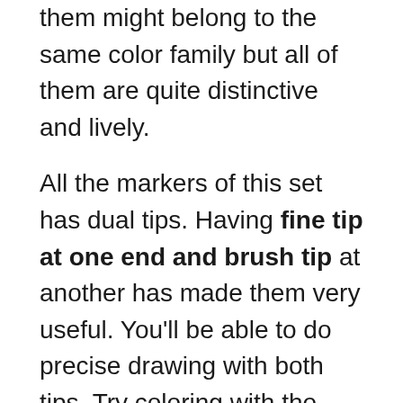them might belong to the same color family but all of them are quite distinctive and lively.
All the markers of this set has dual tips. Having fine tip at one end and brush tip at another has made them very useful. You'll be able to do precise drawing with both tips. Try coloring with the brush tip because that brings about the best result.
The colors are well pigmented considering the fact that they are watercolors.
Have you never seen a water based color set that delivers smudge-free ink? If so, try this set.